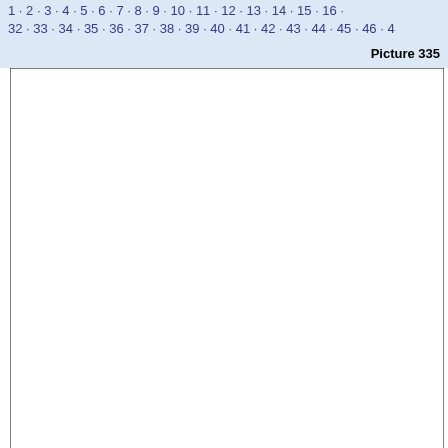1 · 2 · 3 · 4 · 5 · 6 · 7 · 8 · 9 · 10 · 11 · 12 · 13 · 14 · 15 · 16 · 32 · 33 · 34 · 35 · 36 · 37 · 38 · 39 · 40 · 41 · 42 · 43 · 44 · 45 · 46 · 4
Picture 335
[Figure (other): Empty white box with black border, representing Picture 335]